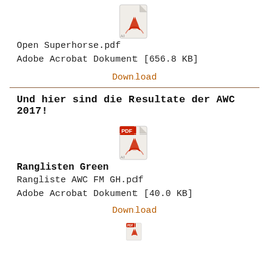[Figure (other): PDF file icon (Adobe Acrobat), grey page with red Acrobat logo at top]
Open Superhorse.pdf
Adobe Acrobat Dokument [656.8 KB]
Download
Und hier sind die Resultate der AWC 2017!
[Figure (other): PDF file icon (Adobe Acrobat), page with red PDF label and red Acrobat logo]
Ranglisten Green
Rangliste AWC FM GH.pdf
Adobe Acrobat Dokument [40.0 KB]
Download
[Figure (other): PDF file icon (Adobe Acrobat), page with red PDF label and red Acrobat logo, partially visible at bottom]